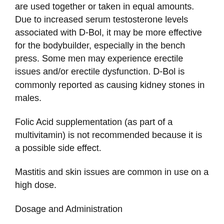are used together or taken in equal amounts. Due to increased serum testosterone levels associated with D-Bol, it may be more effective for the bodybuilder, especially in the bench press. Some men may experience erectile issues and/or erectile dysfunction. D-Bol is commonly reported as causing kidney stones in males.
Folic Acid supplementation (as part of a multivitamin) is not recommended because it is a possible side effect.
Mastitis and skin issues are common in use on a high dose.
Dosage and Administration
Due to the many potential side effects of these types of steroids, doses and dosing
Related Article: